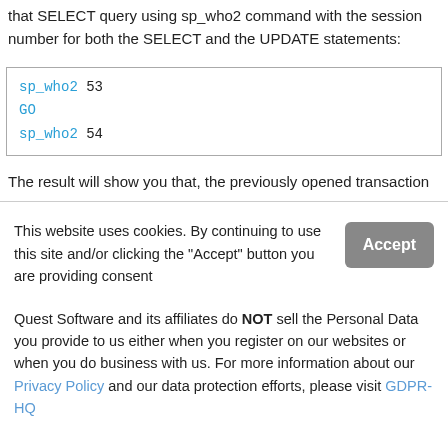that SELECT query using sp_who2 command with the session number for both the SELECT and the UPDATE statements:
sp_who2 53
GO
sp_who2 54
The result will show you that, the previously opened transaction
This website uses cookies. By continuing to use this site and/or click the "Accept" button you are providing consent
Quest Software and its affiliates do NOT sell the Personal Data you provide to us either when you register on our websites or when you do business with us. For more information about our Privacy Policy and our data protection efforts, please visit GDPR-HQ